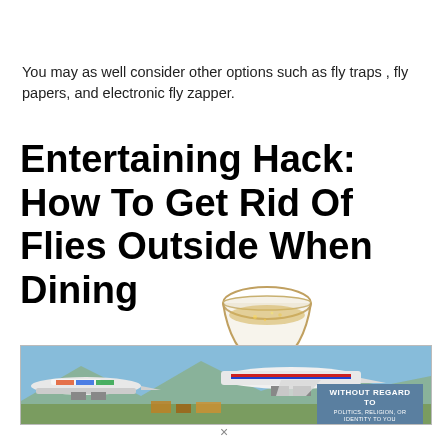You may as well consider other options such as fly traps , fly papers, and electronic fly zapper.
Entertaining Hack: How To Get Rid Of Flies Outside When Dining
[Figure (photo): A wine glass containing a golden/amber liquid (wine or champagne) overlapping an advertisement banner showing airplanes on a tarmac with text 'WITHOUT REGARD TO POLITICS, RELIGION, OR IDENTITY TO YOU']
×